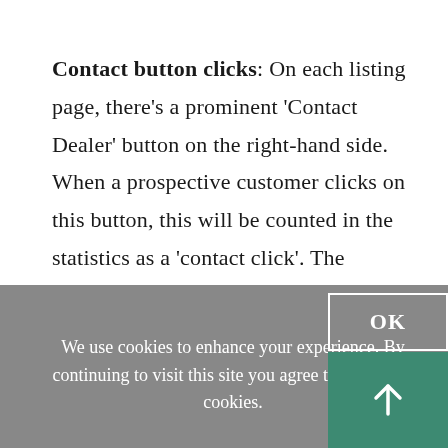Contact button clicks: On each listing page, there's a prominent 'Contact Dealer' button on the right-hand side. When a prospective customer clicks on this button, this will be counted in the statistics as a 'contact click'. The potential buyer will then be shown your given contact information (address, website and phone number), and can also use the contact
We use cookies to enhance your experience. By continuing to visit this site you agree to our use of cookies.